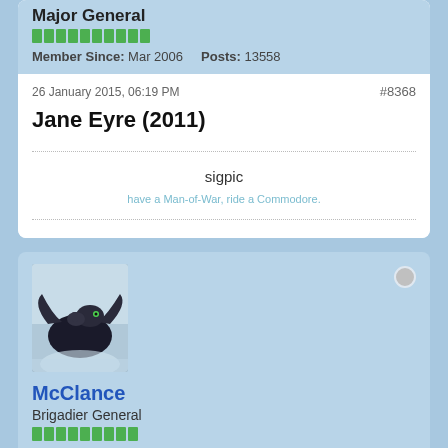Major General
Member Since: Mar 2006   Posts: 13558
26 January 2015, 06:19 PM
#8368
Jane Eyre (2011)
sigpic
have a Man-of-War, ride a Commodore.
[Figure (illustration): Avatar image showing a dragon with a rider silhouetted against a light sky background]
McClance
Brigadier General